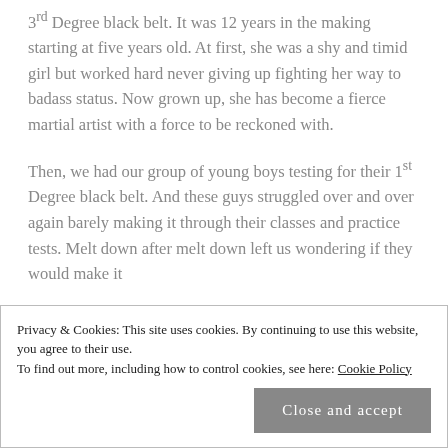3rd Degree black belt. It was 12 years in the making starting at five years old. At first, she was a shy and timid girl but worked hard never giving up fighting her way to badass status. Now grown up, she has become a fierce martial artist with a force to be reckoned with.
Then, we had our group of young boys testing for their 1st Degree black belt. And these guys struggled over and over again barely making it through their classes and practice tests. Melt down after melt down left us wondering if they would make it
Privacy & Cookies: This site uses cookies. By continuing to use this website, you agree to their use.
To find out more, including how to control cookies, see here: Cookie Policy
Close and accept